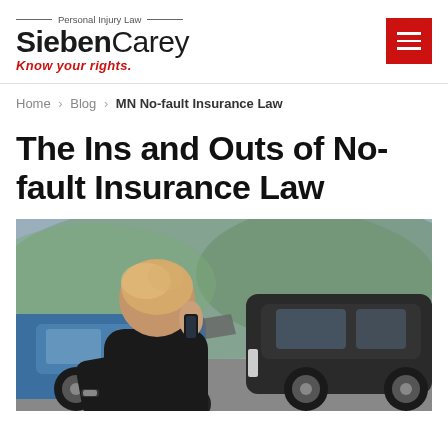Personal Injury Law — Sieben Carey — Know your rights.
Home > Blog > MN No-fault Insurance Law
The Ins and Outs of No-fault Insurance Law
[Figure (photo): A young man with his back to the camera, holding a phone to his ear, with crashed cars in the background — a blue car and a black car involved in a rear-end collision on a road.]